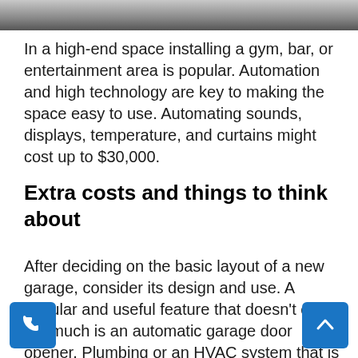[Figure (photo): Partial photo strip at the top of the page showing a cropped image]
In a high-end space installing a gym, bar, or entertainment area is popular. Automation and high technology are key to making the space easy to use. Automating sounds, displays, temperature, and curtains might cost up to $30,000.
Extra costs and things to think about
After deciding on the basic layout of a new garage, consider its design and use. A popular and useful feature that doesn't cost too much is an automatic garage door opener. Plumbing or an HVAC system that is made for you will cost more. Carpentry, appliances, and finishing are extra expenditures. These extra features can help